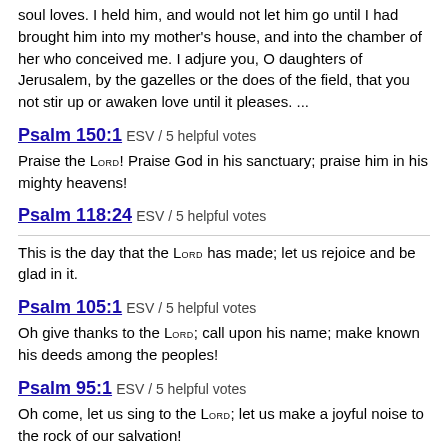soul loves. I held him, and would not let him go until I had brought him into my mother's house, and into the chamber of her who conceived me. I adjure you, O daughters of Jerusalem, by the gazelles or the does of the field, that you not stir up or awaken love until it pleases. ...
Psalm 150:1 ESV / 5 helpful votes
Praise the Lord! Praise God in his sanctuary; praise him in his mighty heavens!
Psalm 118:24 ESV / 5 helpful votes
This is the day that the Lord has made; let us rejoice and be glad in it.
Psalm 105:1 ESV / 5 helpful votes
Oh give thanks to the Lord; call upon his name; make known his deeds among the peoples!
Psalm 95:1 ESV / 5 helpful votes
Oh come, let us sing to the Lord; let us make a joyful noise to the rock of our salvation!